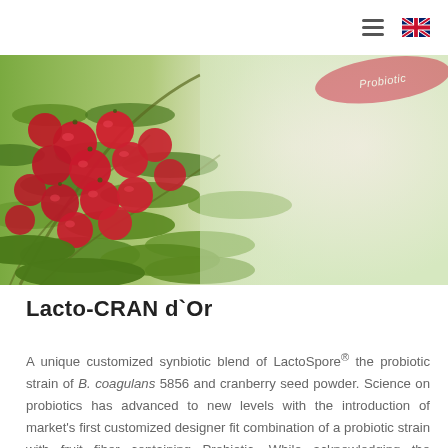☰ [UK flag]
[Figure (photo): Close-up photograph of red cranberries on a plant with green leaves. In the upper right corner is a red ribbon-style label reading 'Probiotic'. The background transitions from the plant on the left to a soft blurred light green/cream on the right.]
Lacto-CRAN d`Or
A unique customized synbiotic blend of LactoSpore® the probiotic strain of B. coagulans 5856 and cranberry seed powder. Science on probiotics has advanced to new levels with the introduction of market's first customized designer fit combination of a probiotic strain with fruit fiber containing Prebiotic. While acknowledging the nutritional